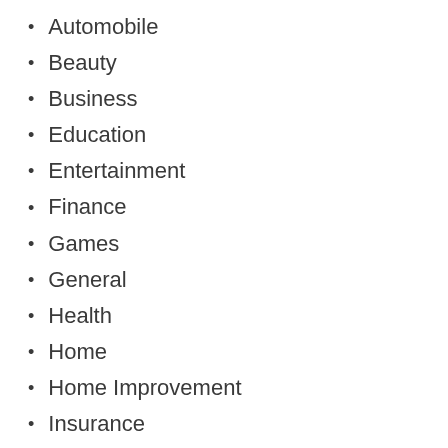Automobile
Beauty
Business
Education
Entertainment
Finance
Games
General
Health
Home
Home Improvement
Insurance
Law